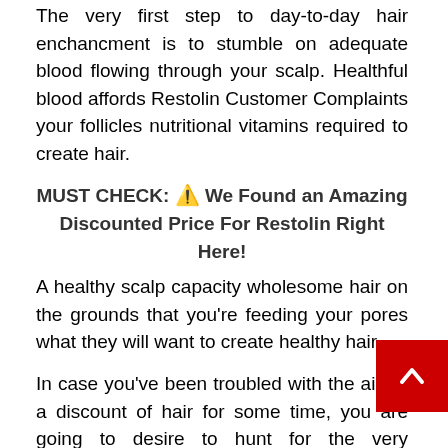The very first step to day-to-day hair enchancment is to stumble on adequate blood flowing through your scalp. Healthful blood affords Restolin Customer Complaints your follicles nutritional vitamins required to create hair.
MUST CHECK: ⚠ We Found an Amazing Discounted Price For Restolin Right Here!
A healthy scalp capacity wholesome hair on the grounds that you're feeding your pores what they will want to create healthy hair.
In case you've been troubled with the aid of a discount of hair for some time, you are going to desire to hunt for the very exceptional Faster Hair Growth Tips that you see whether or not it helps.
This is on match an bother that influences so a lot of men and women. There are a couple of matters that show up